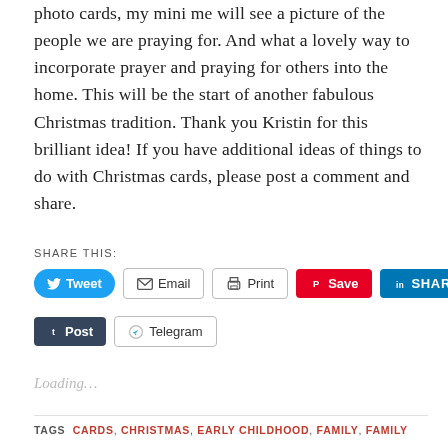photo cards, my mini me will see a picture of the people we are praying for. And what a lovely way to incorporate prayer and praying for others into the home. This will be the start of another fabulous Christmas tradition. Thank you Kristin for this brilliant idea! If you have additional ideas of things to do with Christmas cards, please post a comment and share.
SHARE THIS:
[Figure (screenshot): Social sharing buttons: Tweet (Twitter/blue), Email (outline), Print (outline), Save (Pinterest/red), SHARE (LinkedIn/blue), Post (Tumblr/dark), Telegram (outline)]
Loading...
TAGS  CARDS, CHRISTMAS, EARLY CHILDHOOD, FAMILY, FAMILY